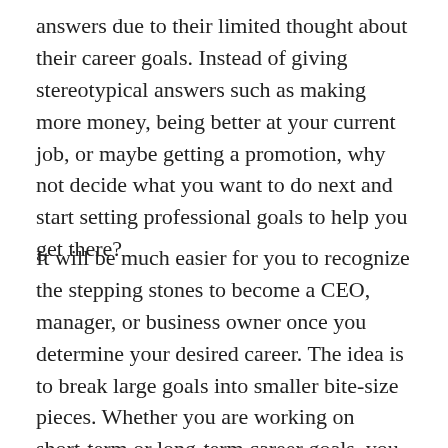answers due to their limited thought about their career goals. Instead of giving stereotypical answers such as making more money, being better at your current job, or maybe getting a promotion, why not decide what you want to do next and start setting professional goals to help you get there?
It will be much easier for you to recognize the stepping stones to become a CEO, manager, or business owner once you determine your desired career. The idea is to break large goals into smaller bite-size pieces. Whether you are working on short-term or long-term career goals, you will be able to monitor everything with